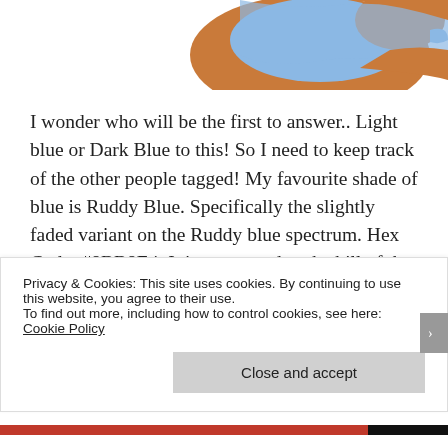[Figure (illustration): Partial illustration of a duck with light blue and brown coloring, visible at the top of the page, cropped]
I wonder who will be the first to answer.. Light blue or Dark Blue to this!  So I need to keep track of the other people tagged!  My favourite shade of blue is Ruddy Blue.  Specifically the slightly faded variant on the Ruddy blue spectrum. Hex Code:  #8BB8E4. It is connected to the bill of the Ruddy Duck. This duck is
Privacy & Cookies: This site uses cookies. By continuing to use this website, you agree to their use.
To find out more, including how to control cookies, see here: Cookie Policy
Close and accept